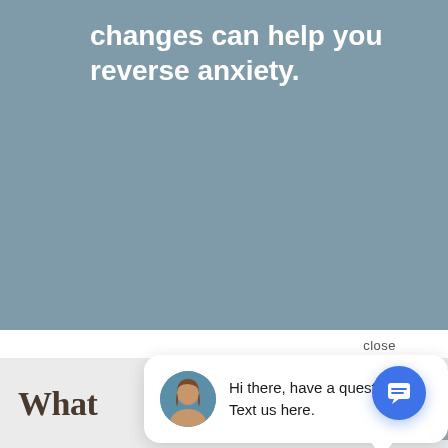changes can help you reverse anxiety.
What
close
[Figure (screenshot): Chat bubble popup with avatar photo of a woman and text: Hi there, have a question? Text us here. Below is a blue circular chat icon button.]